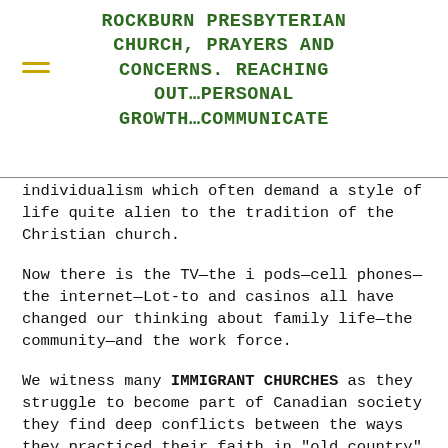ROCKBURN PRESBYTERIAN CHURCH, PRAYERS AND CONCERNS. REACHING OUT…PERSONAL GROWTH…COMMUNICATE
individualism which often demand a style of life quite alien to the tradition of the Christian church.
Now there is the TV—the i pods—cell phones—the internet—Lot-to and casinos all have changed our thinking about family life—the community—and the work force.
We witness many IMMIGRANT CHURCHES as they struggle to become part of Canadian society they find deep conflicts between the ways they practiced their faith in "old country" and how our Canadian culture that challenges their commitment.